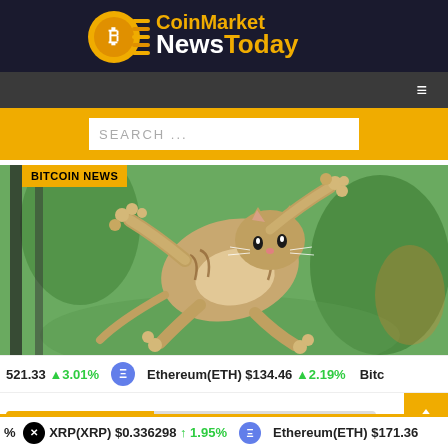[Figure (logo): CoinMarket NewsToday logo with Bitcoin coin icon on dark background]
≡
SEARCH ...
[Figure (photo): A kitten flying/jumping through the air with paws outstretched, blurred green background]
BITCOIN NEWS
521.33 ▲3.01%   Ethereum(ETH) $134.46 ▲2.19%   Bitc
% XRP(XRP) $0.336298 ↑ 1.95%   Ethereum(ETH) $171.36